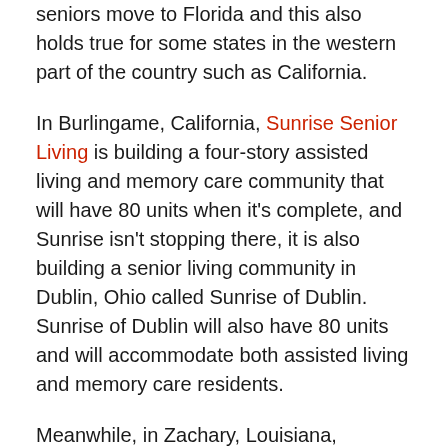seniors move to Florida and this also holds true for some states in the western part of the country such as California.
In Burlingame, California, Sunrise Senior Living is building a four-story assisted living and memory care community that will have 80 units when it's complete, and Sunrise isn't stopping there, it is also building a senior living community in Dublin, Ohio called Sunrise of Dublin. Sunrise of Dublin will also have 80 units and will accommodate both assisted living and memory care residents.
Meanwhile, in Zachary, Louisiana, Provident Resources Group has announced its plans to build a $20 million, 100 unit community that will also have both assisted living and memory care beds. This community will be called Provident Village at American and will feature